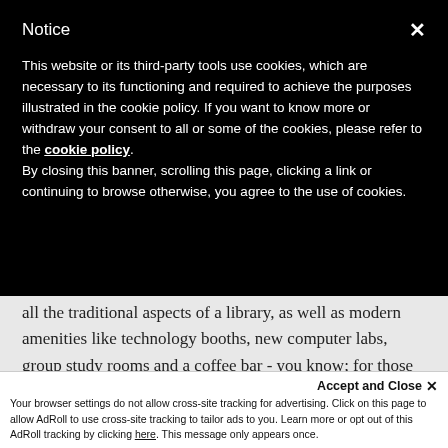Notice
This website or its third-party tools use cookies, which are necessary to its functioning and required to achieve the purposes illustrated in the cookie policy. If you want to know more or withdraw your consent to all or some of the cookies, please refer to the cookie policy. By closing this banner, scrolling this page, clicking a link or continuing to browse otherwise, you agree to the use of cookies.
all the traditional aspects of a library, as well as modern amenities like technology booths, new computer labs, group study rooms and a coffee bar - you know; for those late nights.
[Figure (other): LIBRARY button in red]
Accept and Close ✕
Your browser settings do not allow cross-site tracking for advertising. Click on this page to allow AdRoll to use cross-site tracking to tailor ads to you. Learn more or opt out of this AdRoll tracking by clicking here. This message only appears once.